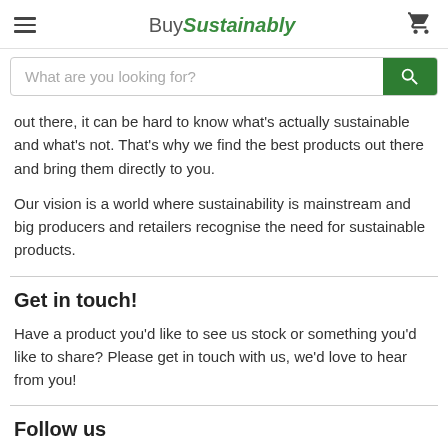BuySustainably (with hamburger menu and cart icon)
What are you looking for? (search bar)
out there, it can be hard to know what's actually sustainable and what's not. That's why we find the best products out there and bring them directly to you.
Our vision is a world where sustainability is mainstream and big producers and retailers recognise the need for sustainable products.
Get in touch!
Have a product you'd like to see us stock or something you'd like to share? Please get in touch with us, we'd love to hear from you!
Follow us